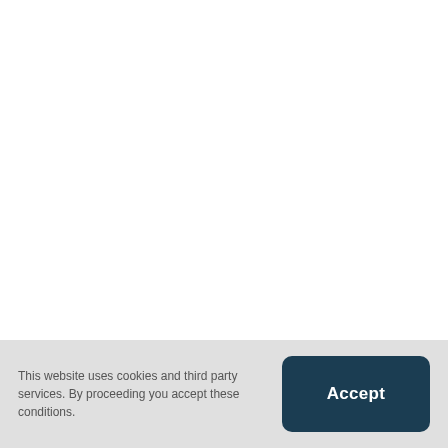This website uses cookies and third party services. By proceeding you accept these conditions.
Accept